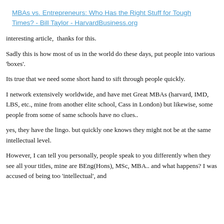MBAs vs. Entrepreneurs: Who Has the Right Stuff for Tough Times? - Bill Taylor - HarvardBusiness.org
interesting article,  thanks for this.
Sadly this is how most of us in the world do these days, put people into various 'boxes'.
Its true that we need some short hand to sift through people quickly.
I network extensively worldwide, and have met Great MBAs (harvard, IMD, LBS, etc., mine from another elite school, Cass in London) but likewise, some people from some of same schools have no clues..
yes, they have the lingo. but quickly one knows they might not be at the same intellectual level.
However, I can tell you personally, people speak to you differently when they see all your titles, mine are BEng(Hons), MSc, MBA.. and what happens? I was accused of being too 'intellectual', and